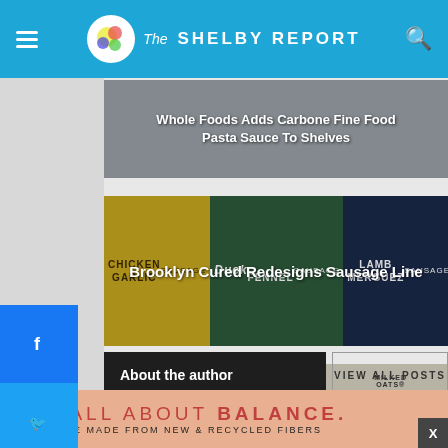The Shelby Report
[Figure (screenshot): Article card: Whole Foods Adds Carbone Fine Food Pasta Sauce To Shelves]
[Figure (screenshot): Article card: Brooklyn Cured Redesigns Sausage Line - showing Chicken Garlic, Duck Fennel, and Lamb Merguez sausage packages]
[Figure (screenshot): Article card: Elmhurst 1925 Expands Distribution At Whole Foods Market - showing Milked Cashews and Milked Oats products]
About the author
VIEW ALL POSTS
Alissa Marchat
IT'S ALL ABOUT BALANCE. BOXES ARE MADE FROM NEW & RECYCLED FIBERS